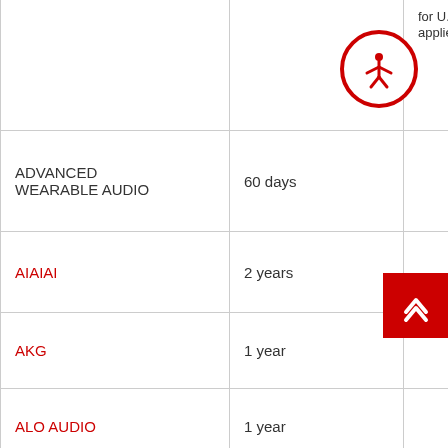| Brand | Warranty Period | Notes |
| --- | --- | --- |
|  |  | for U.S. customers, applied on op... |
| ADVANCED WEARABLE AUDIO | 60 days |  |
| AIAIAI | 2 years |  |
| AKG | 1 year |  |
| ALO AUDIO | 1 year |  |
| ASTELL & KERN | 1 year | accessories are 90 d... boxes have NO wa...

To receive U.S. war... Invixion Inc. / 19600 Fairchild Roa... Irvine, CA 92612 / E support@theinvixion... 949-336-4540/4541 |